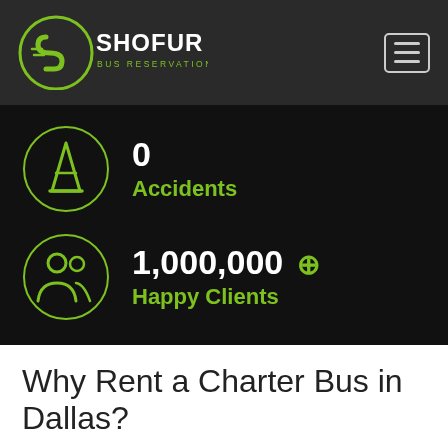[Figure (logo): Shofur logo with green circular S icon and text 'SHOFUR BUS RESERVATIONS MADE EASY']
[Figure (infographic): 0 Accidents stat with green traffic cone icon inside a circle on dark background]
[Figure (infographic): 1,000,000+ Happy Clients stat with green people icon inside a circle on dark background]
Why Rent a Charter Bus in Dallas?
So you're planning your next group trip in Dallas. Great! But what's the best way to get around the